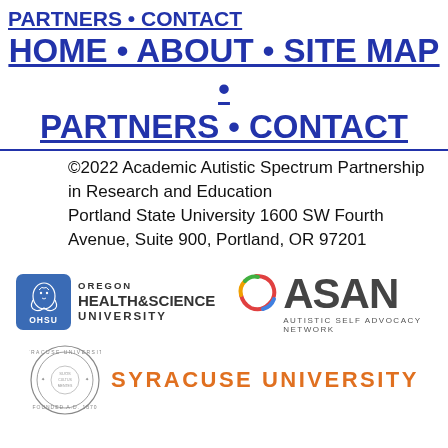PARTNERS • CONTACT
HOME • ABOUT • SITE MAP • PARTNERS • CONTACT
©2022 Academic Autistic Spectrum Partnership in Research and Education
Portland State University 1600 SW Fourth Avenue, Suite 900, Portland, OR 97201
[Figure (logo): Oregon Health & Science University (OHSU) logo]
[Figure (logo): ASAN - Autistic Self Advocacy Network logo]
[Figure (logo): Syracuse University logo with seal]